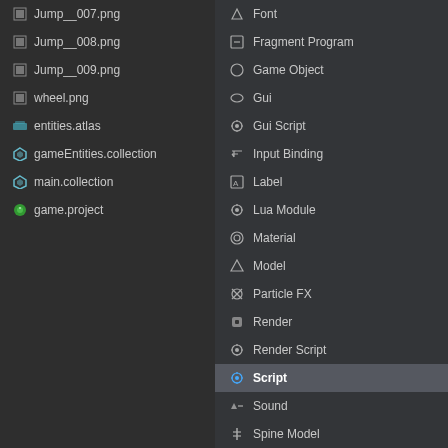Jump__007.png
Jump__008.png
Jump__009.png
wheel.png
entities.atlas
gameEntities.collection
main.collection
game.project
Changed Files
Font
Fragment Program
Game Object
Gui
Gui Script
Input Binding
Label
Lua Module
Material
Model
Particle FX
Render
Render Script
Script
Sound
Spine Model
Spine Scene
Sprite
Texture Profiles
Tile Map
Tile Source
Vertex Program